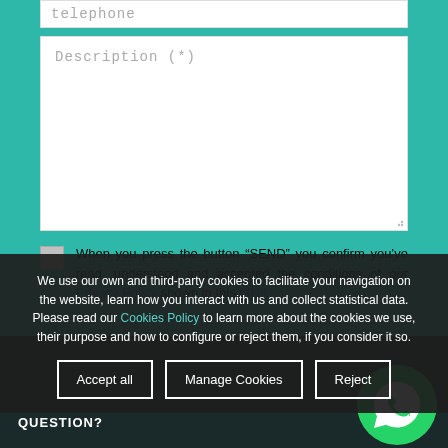telephone
Description (*)
When you press the button “SEND” you confirm you’ve read, understood and accepted the conditions of our Privacy Policy shown in this LINK
Send
QUESTION?
We use our own and third-party cookies to facilitate your navigation on the website, learn how you interact with us and collect statistical data. Please read our Cookies Policy to learn more about the cookies we use, their purpose and how to configure or reject them, if you consider it so.
Accept all
Manage Cookies
Reject